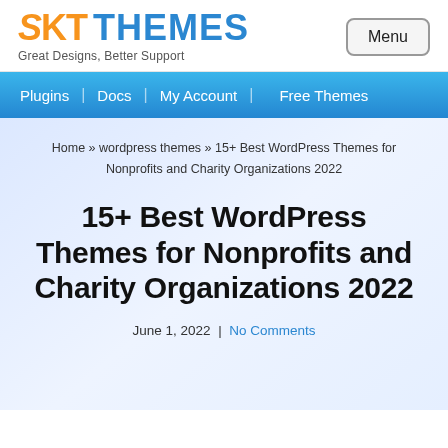SKT THEMES — Great Designs, Better Support
Menu
Plugins | Docs | My Account | Free Themes
Home » wordpress themes » 15+ Best WordPress Themes for Nonprofits and Charity Organizations 2022
15+ Best WordPress Themes for Nonprofits and Charity Organizations 2022
June 1, 2022  |  No Comments